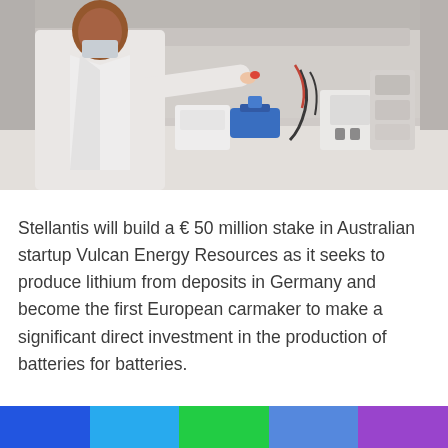[Figure (photo): A laboratory worker in a white lab coat and face mask working at a laboratory bench with scientific equipment including a blue instrument (possibly a hot plate or stirrer), various lab devices, tubes, and cables on a white bench surface. The background shows additional lab equipment and shelving.]
Stellantis will build a € 50 million stake in Australian startup Vulcan Energy Resources as it seeks to produce lithium from deposits in Germany and become the first European carmaker to make a significant direct investment in the production of batteries for batteries.